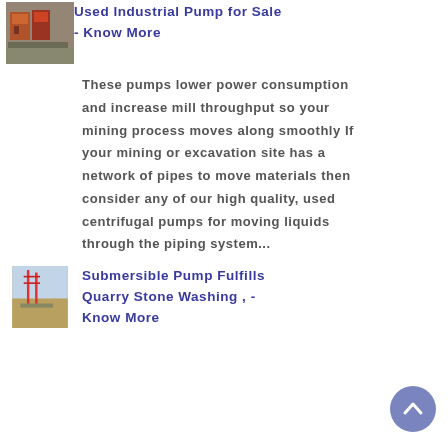[Figure (photo): Thumbnail image of industrial pumps at a site, top-left corner]
Used Industrial Pump for Sale - Know More
These pumps lower power consumption and increase mill throughput so your mining process moves along smoothly If your mining or excavation site has a network of pipes to move materials then consider any of our high quality, used centrifugal pumps for moving liquids through the piping system...
[Figure (photo): Thumbnail image of a submersible pump at a quarry site]
Submersible Pump Fulfills Quarry Stone Washing , - Know More